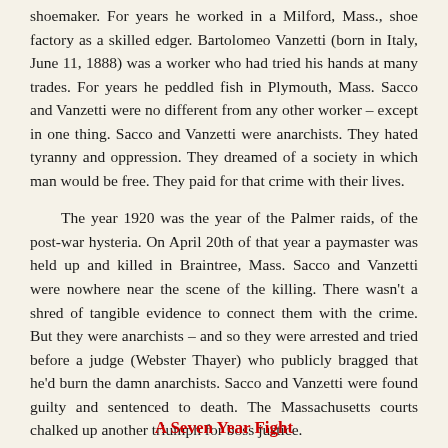shoemaker. For years he worked in a Milford, Mass., shoe factory as a skilled edger. Bartolomeo Vanzetti (born in Italy, June 11, 1888) was a worker who had tried his hands at many trades. For years he peddled fish in Plymouth, Mass. Sacco and Vanzetti were no different from any other worker – except in one thing. Sacco and Vanzetti were anarchists. They hated tyranny and oppression. They dreamed of a society in which man would be free. They paid for that crime with their lives.
The year 1920 was the year of the Palmer raids, of the post-war hysteria. On April 20th of that year a paymaster was held up and killed in Braintree, Mass. Sacco and Vanzetti were nowhere near the scene of the killing. There wasn't a shred of tangible evidence to connect them with the crime. But they were anarchists – and so they were arrested and tried before a judge (Webster Thayer) who publicly bragged that he'd burn the damn anarchists. Sacco and Vanzetti were found guilty and sentenced to death. The Massachusetts courts chalked up another triumph for boss justice.
A Seven Year Fight